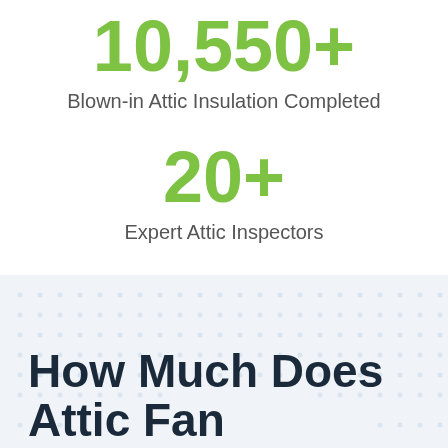10,550+
Blown-in Attic Insulation Completed
20+
Expert Attic Inspectors
How Much Does Attic Fan